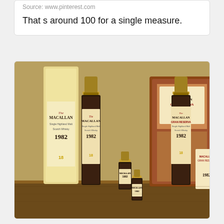Source: www.pinterest.com
That s around 100 for a single measure.
[Figure (photo): Photo of multiple Macallan Gran Reserva 1982 Scotch Whisky bottles and packaging, including full-size bottles with tubes, a miniature bottle, and a wooden presentation box. Labels read MACALLAN GRAN RESERVA 1982, aged 18 years.]